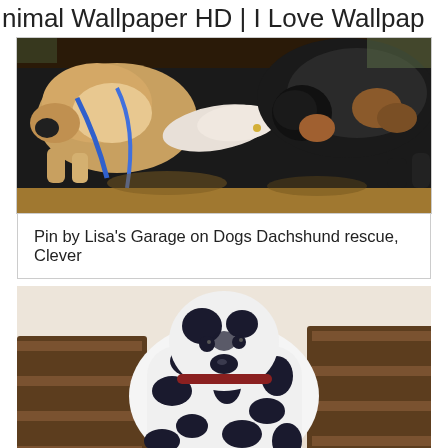nimal Wallpaper HD | I Love Wallpap
[Figure (photo): Photo of two dogs - a beagle/dachshund mix and a black and tan dog - being held by a person outdoors on dirt ground. The dogs are sniffing each other with a blue leash visible.]
Pin by Lisa's Garage on Dogs Dachshund rescue, Clever
[Figure (photo): Photo of a Dalmatian dog with black and white spots sitting or climbing wooden stairs indoors, viewed from the side/front.]